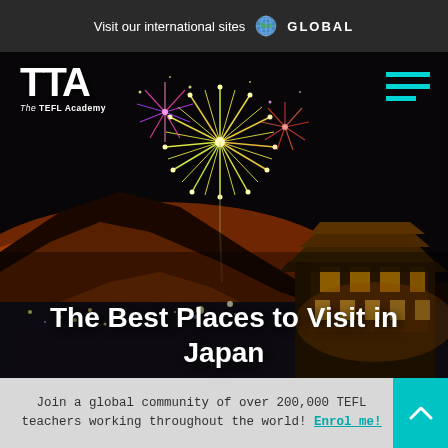Visit our international sites  🌐  GLOBAL
[Figure (photo): Night scene of a Japanese city with fireworks bursting in the sky above hills, an illuminated traditional Japanese temple/pagoda on the right, and city lights below. The hillsides glow orange from fire or lighting. The scene is dark and dramatic.]
[Figure (logo): TTA - The TEFL Academy logo in white on dark background]
[Figure (other): Hamburger menu icon with three teal/cyan horizontal lines]
The Best Places to Visit in Japan
Join a global community of over 200,000 TEFL teachers working throughout the world! Enrol me!